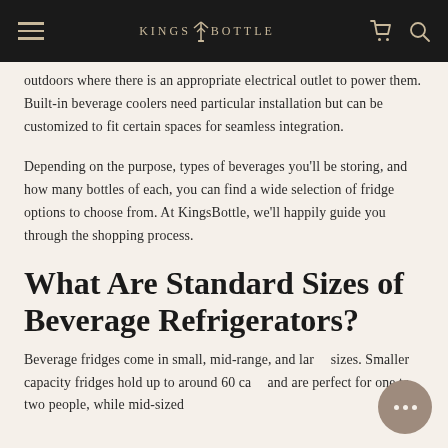KINGSBOTTLE
outdoors where there is an appropriate electrical outlet to power them. Built-in beverage coolers need particular installation but can be customized to fit certain spaces for seamless integration.
Depending on the purpose, types of beverages you'll be storing, and how many bottles of each, you can find a wide selection of fridge options to choose from. At KingsBottle, we'll happily guide you through the shopping process.
What Are Standard Sizes of Beverage Refrigerators?
Beverage fridges come in small, mid-range, and large sizes. Smaller capacity fridges hold up to around 60 cans and are perfect for one to two people, while mid-sized